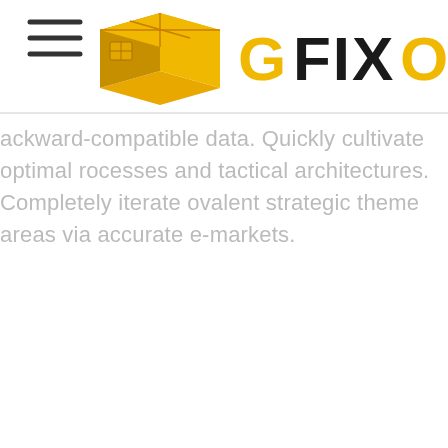[Figure (logo): GFIXO logo with hamburger menu icon on the left and a gold/black 3D box icon with the text GFIXO in gold and black letters]
ackward-compatible data. Quickly cultivate optimal rocesses and tactical architectures. Completely iterate ovalent strategic theme areas via accurate e-markets.